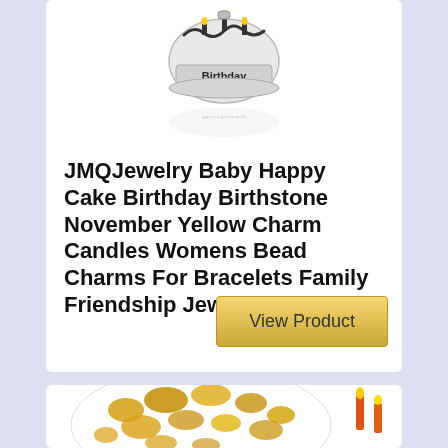[Figure (photo): Silver birthday cake charm bead with the word 'Birthday' on it and a reflection below, shown against a white background]
JMQJewelry Baby Happy Cake Birthday Birthstone November Yellow Charm Candles Womens Bead Charms For Bracelets Family Friendship Jewelry 2021
View Product
[Figure (photo): Gold and white confetti-style birthday charm bead with orange candles, partially visible at the bottom of the page]